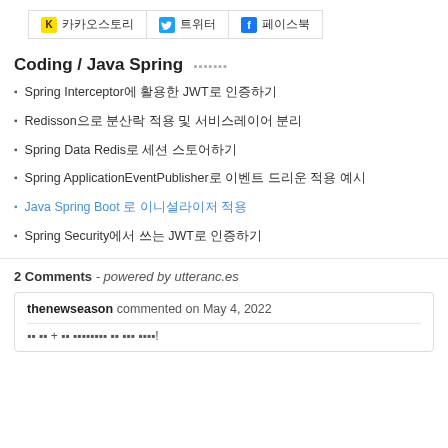[Figure (other): Share buttons bar with KakaoStory, Twitter, and Facebook icons]
Coding / Java Spring
Spring Interceptor에 활용한 JWT로 인증하기
Redisson으로 분산락 적용 및 서비스레이어 분리
Spring Data Redis로 세션 스토어하기
Spring ApplicationEventPublisher로 이벤트 드리운 적용 예시
Java Spring Boot 로 이니셜라이저 적용
Spring Security에서 쓰는 JWT로 인증하기
2 Comments - powered by utteranc.es
thenewseason commented on May 4, 2022